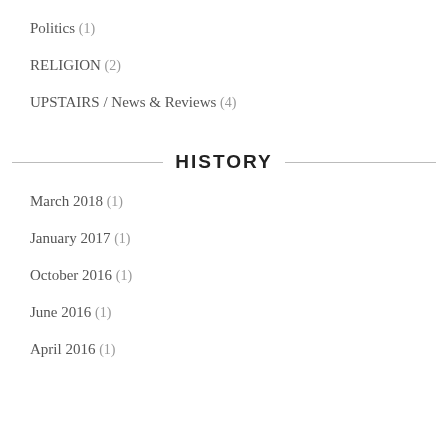Politics (1)
RELIGION (2)
UPSTAIRS / News & Reviews (4)
History
March 2018 (1)
January 2017 (1)
October 2016 (1)
June 2016 (1)
April 2016 (1)